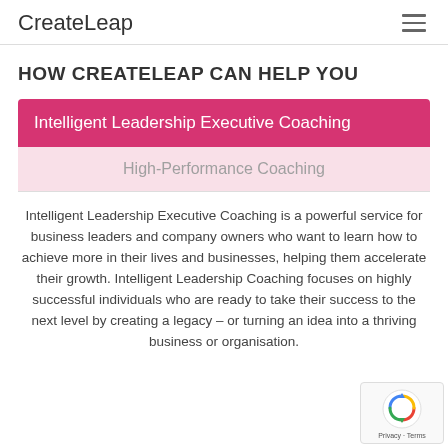CreateLeap
HOW CREATELEAP CAN HELP YOU
Intelligent Leadership Executive Coaching
High-Performance Coaching
Intelligent Leadership Executive Coaching is a powerful service for business leaders and company owners who want to learn how to achieve more in their lives and businesses, helping them accelerate their growth. Intelligent Leadership Coaching focuses on highly successful individuals who are ready to take their success to the next level by creating a legacy – or turning an idea into a thriving business or organisation.